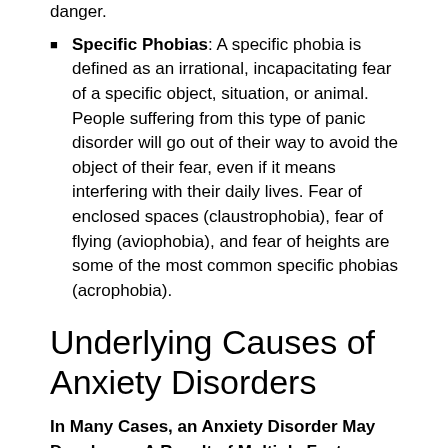danger.
Specific Phobias: A specific phobia is defined as an irrational, incapacitating fear of a specific object, situation, or animal. People suffering from this type of panic disorder will go out of their way to avoid the object of their fear, even if it means interfering with their daily lives. Fear of enclosed spaces (claustrophobia), fear of flying (aviophobia), and fear of heights are some of the most common specific phobias (acrophobia).
Underlying Causes of Anxiety Disorders
In Many Cases, an Anxiety Disorder May Develop as A Result of Multiple Factors, Such As:
Family History: Having a parent or other close relative with an panic disorder can make a person more